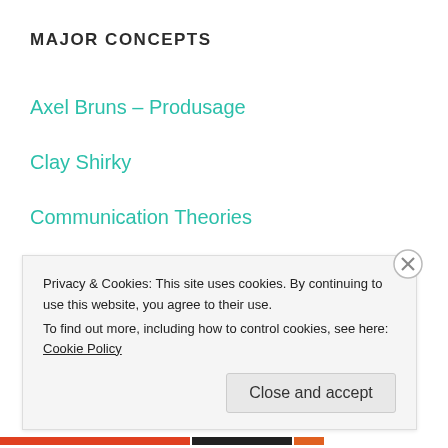MAJOR CONCEPTS
Axel Bruns – Produsage
Clay Shirky
Communication Theories
Deductive & Inductive Reasoning
Henry Jenkins
Privacy & Cookies: This site uses cookies. By continuing to use this website, you agree to their use.
To find out more, including how to control cookies, see here: Cookie Policy
Close and accept